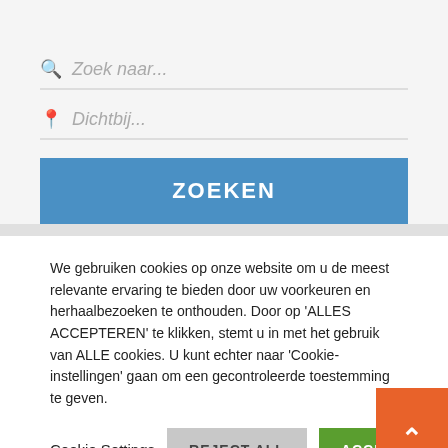Zoek naar...
Dichtbij...
ZOEKEN
We gebruiken cookies op onze website om u de meest relevante ervaring te bieden door uw voorkeuren en herhaalbezoeken te onthouden. Door op 'ALLES ACCEPTEREN' te klikken, stemt u in met het gebruik van ALLE cookies. U kunt echter naar 'Cookie-instellingen' gaan om een gecontroleerde toestemming te geven.
Cookie Settings
REJECT ALL
ACCEPTEER ALLES